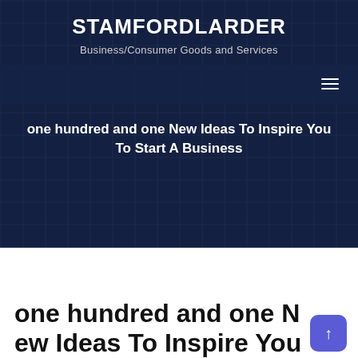STAMFORDLARDER
Business/Consumer Goods and Services
one hundred and one New Ideas To Inspire You To Start A Business
one hundred and one New Ideas To Inspire You